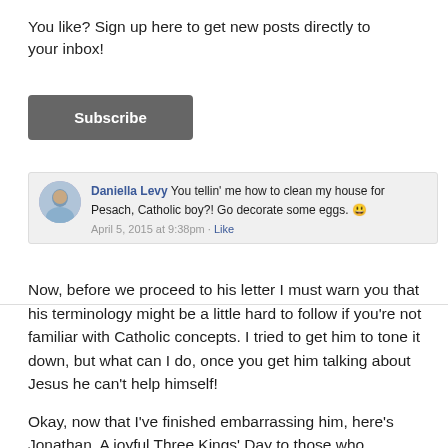You like? Sign up here to get new posts directly to your inbox!
Subscribe
[Figure (screenshot): Facebook comment by Daniella Levy: 'You tellin' me how to clean my house for Pesach, Catholic boy?! Go decorate some eggs. 😄' April 5, 2015 at 9:38pm · Like]
Now, before we proceed to his letter I must warn you that his terminology might be a little hard to follow if you're not familiar with Catholic concepts. I tried to get him to tone it down, but what can I do, once you get him talking about Jesus he can't help himself!
Okay, now that I've finished embarrassing him, here's Jonathan. A joyful Three Kings' Day to those who celebrate!